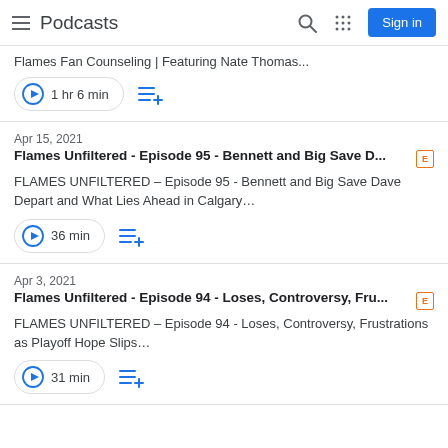Podcasts
Flames Fan Counseling | Featuring Nate Thomas...
1 hr 6 min
Apr 15, 2021
Flames Unfiltered - Episode 95 - Bennett and Big Save D... [E]
FLAMES UNFILTERED – Episode 95 - Bennett and Big Save Dave Depart and What Lies Ahead in Calgary…
36 min
Apr 3, 2021
Flames Unfiltered - Episode 94 - Loses, Controversy, Fru... [E]
FLAMES UNFILTERED – Episode 94 - Loses, Controversy, Frustrations as Playoff Hope Slips…
31 min